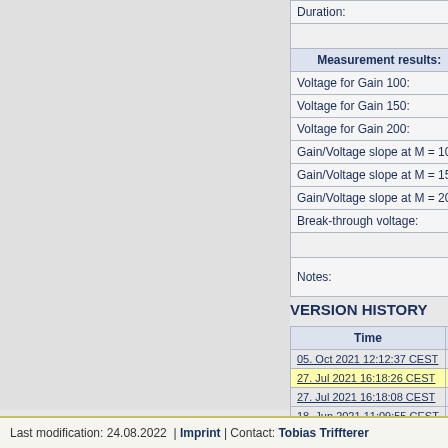|  |
| --- |
| Duration: |
|  |
| Measurement results: |
| Voltage for Gain 100: |
| Voltage for Gain 150: |
| Voltage for Gain 200: |
| Gain/Voltage slope at M = 100: |
| Gain/Voltage slope at M = 150: |
| Gain/Voltage slope at M = 200: |
| Break-through voltage: |
|  |
| Notes: |
VERSION HISTORY
| Time |
| --- |
| 05. Oct 2021 12:12:37 CEST | o |
| 27. Jul 2021 16:18:26 CEST | o |
| 27. Jul 2021 16:18:08 CEST | o |
| 18. Jun 2021 11:09:55 CEST | T |
Last modification: 24.08.2022  | Imprint | Contact: Tobias Triffterer